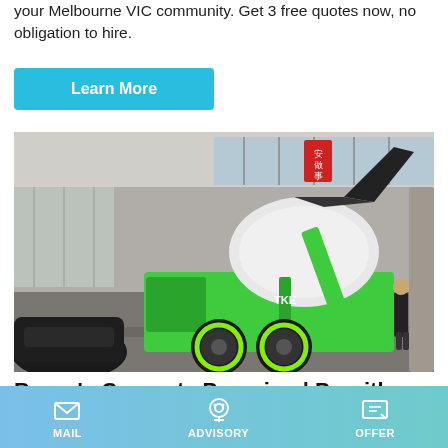your Melbourne VIC community. Get 3 free quotes now, no obligation to hire.
Learn More
[Figure (photo): Green and white self-loading concrete mixer truck displayed in a large indoor showroom or exhibition hall. The truck has large black tyres and a raised mixing drum. Chinese text banners visible in background. A black car is visible on the left side.]
Borgy's Concrete Pumping | Penrith Australia
MAIL   ADVISORY   OFFER